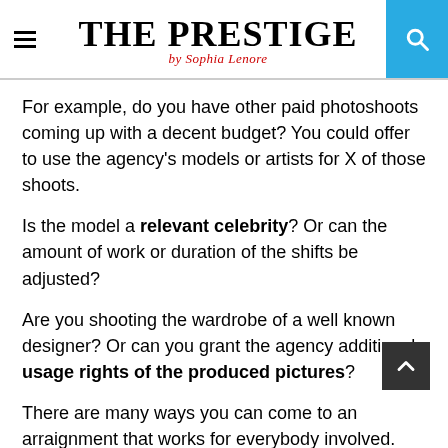THE PRESTIGE by Sophia Lenore
For example, do you have other paid photoshoots coming up with a decent budget? You could offer to use the agency's models or artists for X of those shoots.
Is the model a relevant celebrity? Or can the amount of work or duration of the shifts be adjusted?
Are you shooting the wardrobe of a well known designer? Or can you grant the agency additional usage rights of the produced pictures?
There are many ways you can come to an arraignment that works for everybody involved.
Credits